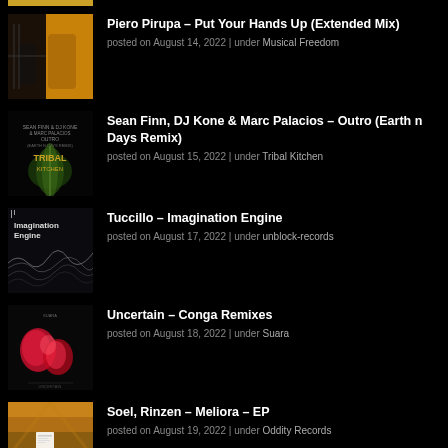Piero Pirupa – Put Your Hands Up (Extended Mix) | posted on August 14, 2022 | under Musical Freedom
Sean Finn, DJ Kone & Marc Palacios – Outro (Earth n Days Remix) | posted on August 15, 2022 | under Tribal Kitchen
Tuccillo – Imagination Engine | posted on August 17, 2022 | under unblock-records
Uncertain – Conga Remixes | posted on August 18, 2022 | under Suara
Soel, Rinzen – Meliora – EP | posted on August 19, 2022 | under Oddity Records